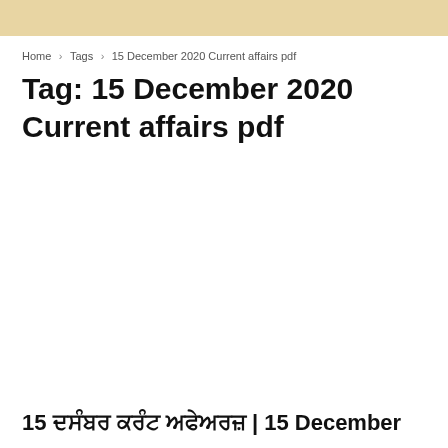Home > Tags > 15 December 2020 Current affairs pdf
Tag: 15 December 2020 Current affairs pdf
15 ਦਸੰਬਰ ਕਰੰਟ ਅਫੇਅਰਜ਼ | 15 December Current affairs